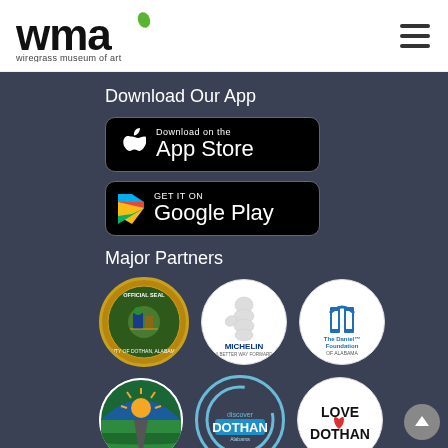[Figure (logo): Wiregrass Museum of Art (WMA) logo with stylized text and leaf icon]
[Figure (illustration): Hamburger menu icon (three horizontal lines)]
Download Our App
[Figure (illustration): Download on the App Store button (black rounded rectangle with Apple logo)]
[Figure (illustration): Get it on Google Play button (black rounded rectangle with Play logo)]
Major Partners
[Figure (illustration): Row of three partner logos: City of Dothan Alabama official seal, Michelin, The Daniel Foundation of Alabama]
[Figure (illustration): Row of three partner logos: Houston County Alabama, Dothan Alabama circular logo, Love Dothan logo]